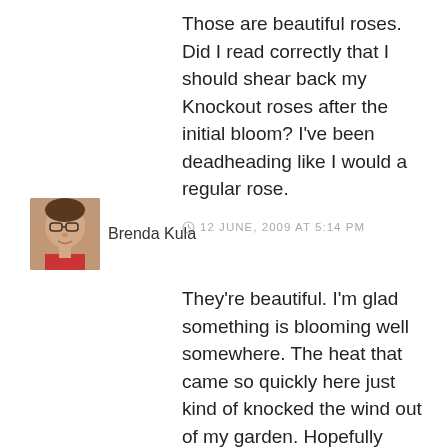Those are beautiful roses. Did I read correctly that I should shear back my Knockout roses after the initial bloom? I've been deadheading like I would a regular rose.
12 JUNE, 2009 AT 5:14 PM
[Figure (photo): Small avatar photo of a woman with glasses and red top]
Brenda Kula
They're beautiful. I'm glad something is blooming well somewhere. The heat that came so quickly here just kind of knocked the wind out of my garden. Hopefully things will start looking better soon. Got to get out there and fertilize! I bet you remember to do that regularly! Brenda